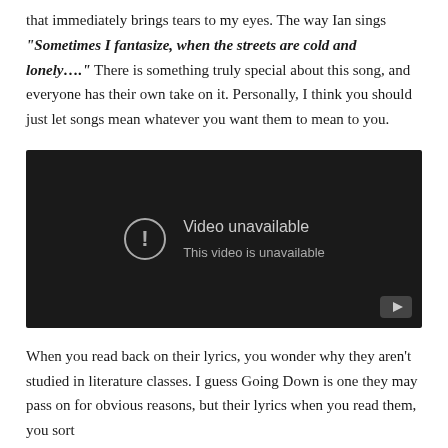that immediately brings tears to my eyes. The way Ian sings "Sometimes I fantasize, when the streets are cold and lonely...." There is something truly special about this song, and everyone has their own take on it. Personally, I think you should just let songs mean whatever you want them to mean to you.
[Figure (screenshot): Embedded YouTube video player showing 'Video unavailable - This video is unavailable' error message on a dark background]
When you read back on their lyrics, you wonder why they aren't studied in literature classes. I guess Going Down is one they may pass on for obvious reasons, but their lyrics when you read them, you sort